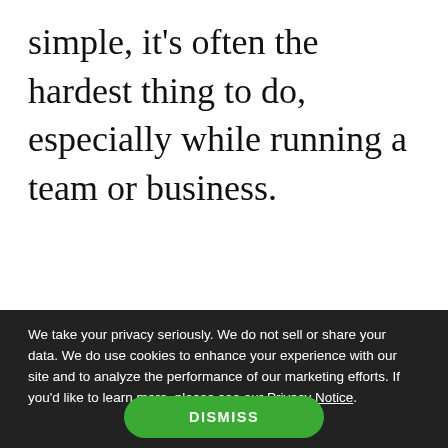simple, it's often the hardest thing to do, especially while running a team or business.
We take your privacy seriously. We do not sell or share your data. We do use cookies to enhance your experience with our site and to analyze the performance of our marketing efforts. If you'd like to learn more, please see our Privacy Notice.
DISMISS